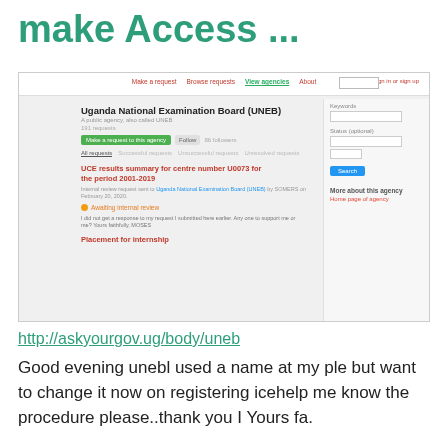make Access ...
[Figure (screenshot): Screenshot of Uganda National Examination Board (UNEB) page on askyourgov.ug, showing a FOI request titled 'UCE results summary for centre number U0073 for the period 2001-2019', with status 'Awaiting internal review', and a second request 'Placement for internship'.]
http://askyourgov.ug/body/uneb
Good evening unebl used a name at my ple but want to change it now on registering icehelp me know the procedure please..thank you I Yours fa.
3,271,998
Monthly Visits
US
Popular in
UP